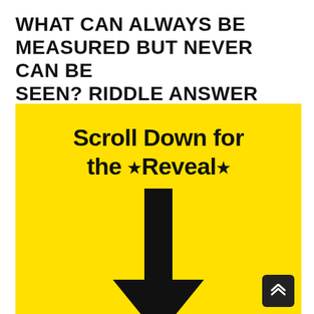WHAT CAN ALWAYS BE MEASURED BUT NEVER CAN BE SEEN? RIDDLE ANSWER
[Figure (infographic): Yellow background box with bold hand-drawn style text reading 'Scroll Down for the ★Reveal★' and a large downward-pointing black arrow below the text. A small dark button with double chevron up icon is in the bottom-right corner.]